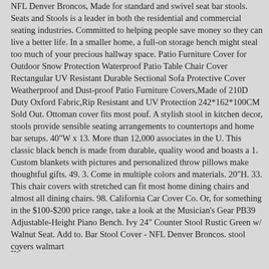NFL Denver Broncos, Made for standard and swivel seat bar stools. Seats and Stools is a leader in both the residential and commercial seating industries. Committed to helping people save money so they can live a better life. In a smaller home, a full-on storage bench might steal too much of your precious hallway space. Patio Furniture Cover for Outdoor Snow Protection Waterproof Patio Table Chair Cover Rectangular UV Resistant Durable Sectional Sofa Protective Cover Weatherproof and Dust-proof Patio Furniture Covers,Made of 210D Duty Oxford Fabric,Rip Resistant and UV Protection 242*162*100CM Sold Out. Ottoman cover fits most pouf. A stylish stool in kitchen decor, stools provide sensible seating arrangements to countertops and home bar setups. 40"W x 13. More than 12,000 associates in the U. This classic black bench is made from durable, quality wood and boasts a 1. Custom blankets with pictures and personalized throw pillows make thoughtful gifts. 49. 3. Come in multiple colors and materials. 20"H. 33. This chair covers with stretched can fit most home dining chairs and almost all dining chairs. 98. California Car Cover Co. Or, for something in the $100-$200 price range, take a look at the Musician's Gear PB39 Adjustable-Height Piano Bench. Ivy 24" Counter Stool Rustic Green w/ Walnut Seat. Add to. Bar Stool Cover - NFL Denver Broncos. stool covers walmart
-->